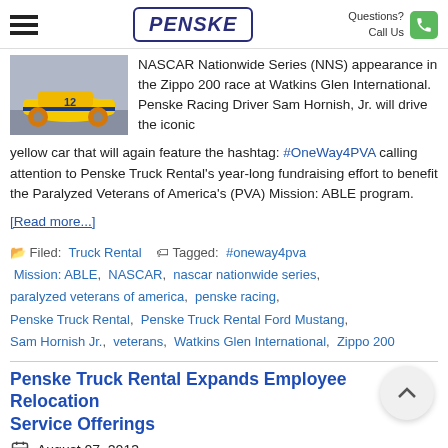PENSKE — Questions? Call Us
[Figure (photo): Yellow NASCAR race car photo on left side]
NASCAR Nationwide Series (NNS) appearance in the Zippo 200 race at Watkins Glen International. Penske Racing Driver Sam Hornish, Jr. will drive the iconic yellow car that will again feature the hashtag: #OneWay4PVA calling attention to Penske Truck Rental's year-long fundraising effort to benefit the Paralyzed Veterans of America's (PVA) Mission: ABLE program.
[Read more...]
Filed: Truck Rental   Tagged: #oneway4pva Mission: ABLE, NASCAR, nascar nationwide series, paralyzed veterans of america, penske racing, Penske Truck Rental, Penske Truck Rental Ford Mustang, Sam Hornish Jr., veterans, Watkins Glen International, Zippo 200
Penske Truck Rental Expands Employee Relocation Service Offerings
August 07, 2013